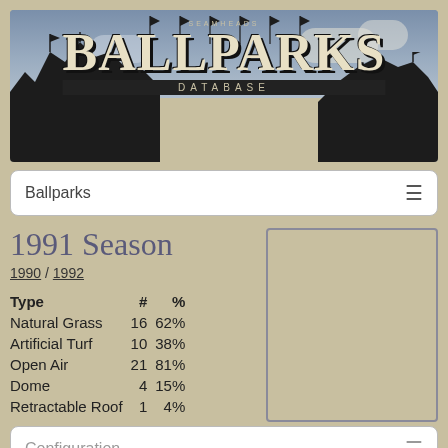[Figure (illustration): Seamheads Ballparks Database banner with silhouette bleachers and flags on blue-grey sky background]
Ballparks
1991 Season
1990 / 1992
| Type | # | % |
| --- | --- | --- |
| Natural Grass | 16 | 62% |
| Artificial Turf | 10 | 38% |
| Open Air | 21 | 81% |
| Dome | 4 | 15% |
| Retractable Roof | 1 | 4% |
[Figure (photo): Empty image placeholder box]
Configuration